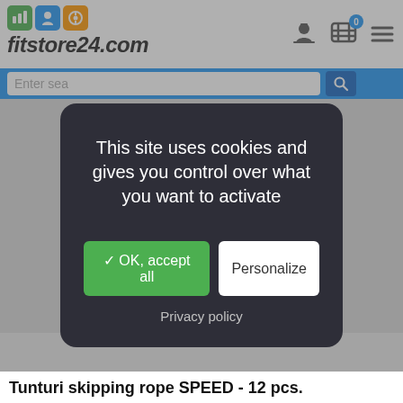[Figure (screenshot): fitstore24.com website header with logo icons (green, blue, orange), italic bold logo text, navigation icons (user, cart with 0, menu), blue search bar with search field and magnifier button]
[Figure (screenshot): Cookie consent modal dialog on dark overlay. Contains message 'This site uses cookies and gives you control over what you want to activate', a green 'OK, accept all' button, a white 'Personalize' button, and a 'Privacy policy' link.]
This site uses cookies and gives you control over what you want to activate
✓ OK, accept all
Personalize
Privacy policy
Tunturi skipping rope SPEED - 12 pcs.